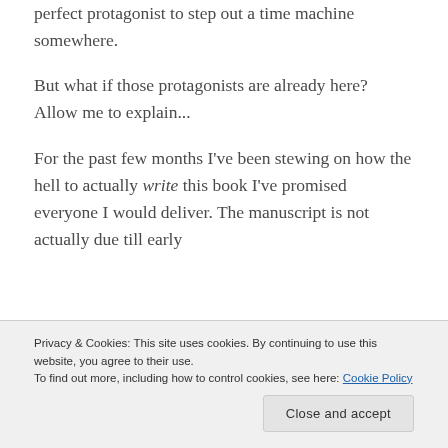perfect protagonist to step out a time machine somewhere.
But what if those protagonists are already here? Allow me to explain...
For the past few months I've been stewing on how the hell to actually write this book I've promised everyone I would deliver. The manuscript is not actually due till early
Privacy & Cookies: This site uses cookies. By continuing to use this website, you agree to their use.
To find out more, including how to control cookies, see here: Cookie Policy
Close and accept